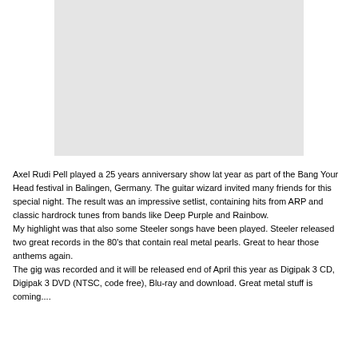[Figure (photo): A light gray placeholder rectangle representing an image, likely of Axel Rudi Pell performing at the Bang Your Head festival anniversary show.]
Axel Rudi Pell played a 25 years anniversary show lat year as part of the Bang Your Head festival in Balingen, Germany. The guitar wizard invited many friends for this special night. The result was an impressive setlist, containing hits from ARP and classic hardrock tunes from bands like Deep Purple and Rainbow.
My highlight was that also some Steeler songs have been played. Steeler released two great records in the 80's that contain real metal pearls. Great to hear those anthems again.
The gig was recorded and it will be released end of April this year as Digipak 3 CD, Digipak 3 DVD (NTSC, code free), Blu-ray and download. Great metal stuff is coming....